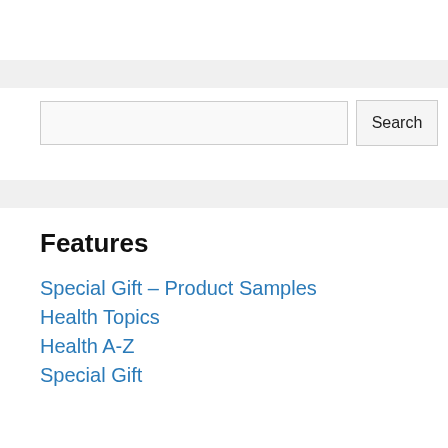[Figure (screenshot): Search input box and Search button]
Features
Special Gift – Product Samples
Health Topics
Health A-Z
Special Gift